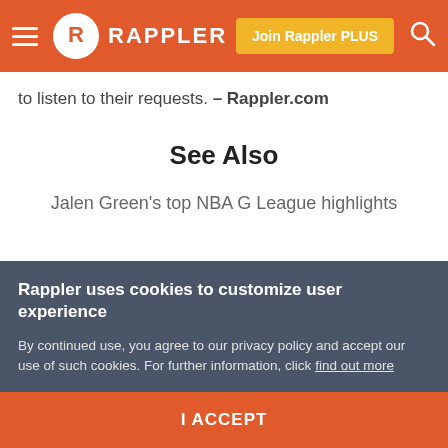RAPPLER — Join Rappler PLUS
to listen to their requests. – Rappler.com
See Also
Jalen Green's top NBA G League highlights
Rappler uses cookies to customize user experience
By continued use, you agree to our privacy policy and accept our use of such cookies. For further information, click find out more
I ACCEPT